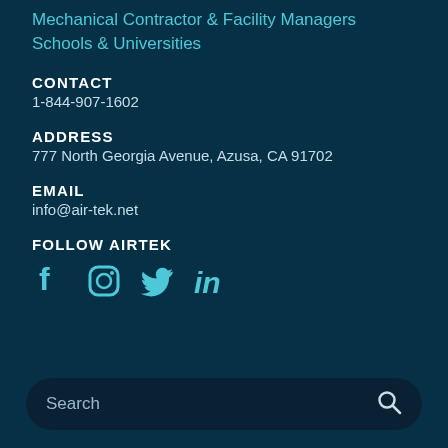Mechanical Contractor & Facility Managers
Schools & Universities
CONTACT
1-844-907-1602
ADDRESS
777 North Georgia Avenue, Azusa, CA 91702
EMAIL
info@air-tek.net
FOLLOW AIRTEK
[Figure (infographic): Social media icons: Facebook, Instagram, Twitter, LinkedIn in teal/cyan color]
Search